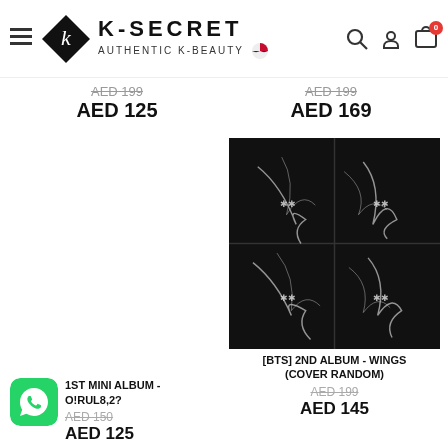K-SECRET — AUTHENTIC K-BEAUTY
AED 199 (strikethrough) / AED 125   |   AED 199 (strikethrough) / AED 169
[Figure (photo): BTS Wings album four-cover composite image on black background with smoke/wing motifs]
1ST MINI ALBUM - O!RUL8,2?  AED 150 (strikethrough)  AED 125
[BTS] 2ND ALBUM - WINGS (COVER RANDOM)  AED 199 (strikethrough)  AED 145